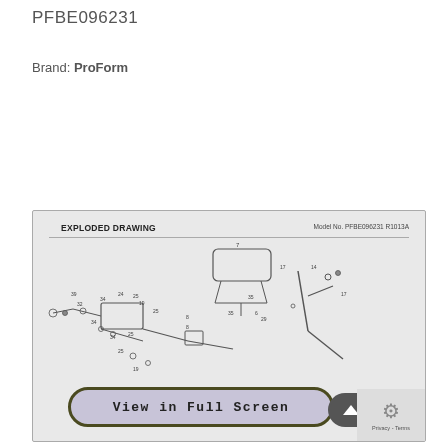PFBE096231
Brand: ProForm
[Figure (engineering-diagram): Exploded drawing of a ProForm exercise equipment (model No. PFBE096231 R1013A) showing numbered parts including seat, frame, handlebars, bolts, and other components with part number callouts. Overlaid with a 'View in Full Screen' button UI element.]